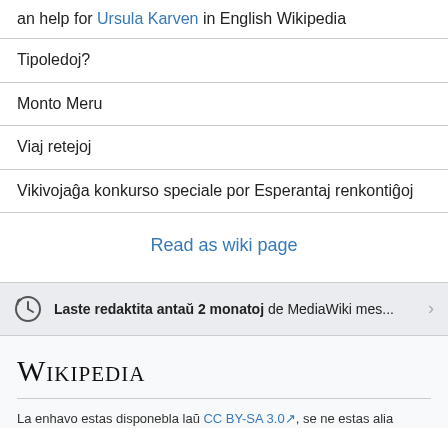an help for Ursula Karven in English Wikipedia
Tipoledoj?
Monto Meru
Viaj retejoj
Vikivojaĝa konkurso speciale por Esperantaj renkontiĝoj
Read as wiki page
Laste redaktita antaŭ 2 monatoj de MediaWiki mes...
Wikipedia
La enhavo estas disponebla laŭ CC BY-SA 3.0, se ne estas alia